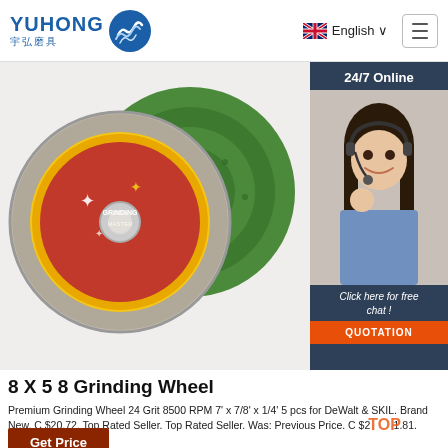YUHONG 宇弘磨具 — English
[Figure (photo): Two abrasive grinding/cutting discs — one with colorful printed label, one green — on white background]
[Figure (photo): Customer service representative wearing headset, smiling, with '24/7 Online' banner and 'Click here for free chat! QUOTATION' button]
8 X 5 8 Grinding Wheel
Premium Grinding Wheel 24 Grit 8500 RPM 7' x 7/8' x 1/4' 5 pcs for DeWalt & SKIL. Brand New. C $20.72. Top Rated Seller. Top Rated Seller. Was: Previous Price. C $21.81. 5% off.
Get Price